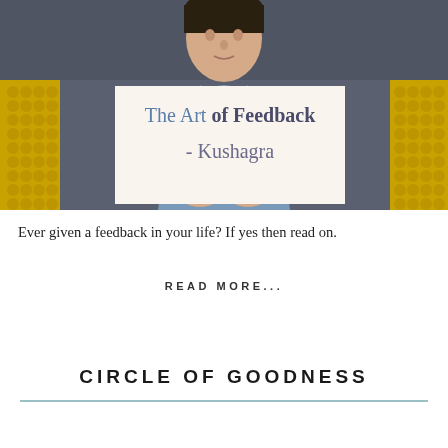[Figure (photo): Photo of a young man in a denim shirt sitting on a yellow patterned sofa with a dark background, holding something in his hands. Yellow honeycomb-patterned fabric visible on left and right sides.]
The Art of Feedback - Kushagra
Ever given a feedback in your life? If yes then read on.
READ MORE...
CIRCLE OF GOODNESS